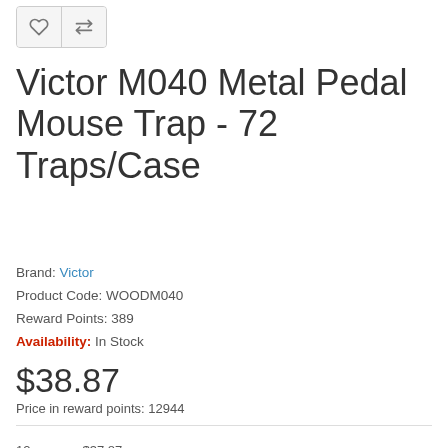[Figure (other): Two icon buttons: a heart (wishlist) and a compare arrows icon, styled as a button group with grey border]
Victor M040 Metal Pedal Mouse Trap - 72 Traps/Case
Brand: Victor
Product Code: WOODM040
Reward Points: 389
Availability: In Stock
$38.87
Price in reward points: 12944
12 or more $37.87
24 or more $36.37
Qty